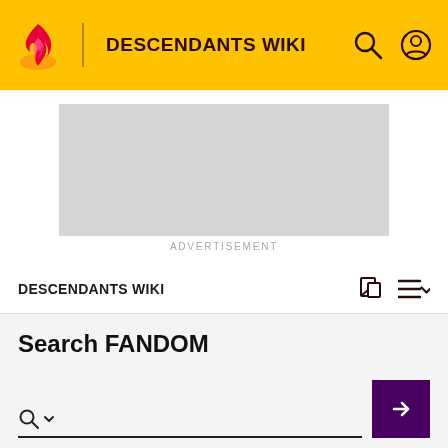DESCENDANTS WIKI
[Figure (other): Advertisement placeholder box]
ADVERTISEMENT
DESCENDANTS WIKI
Search FANDOM
ADVANCED
Articles  Posts  Photos and Videos  Blogs  Peopl